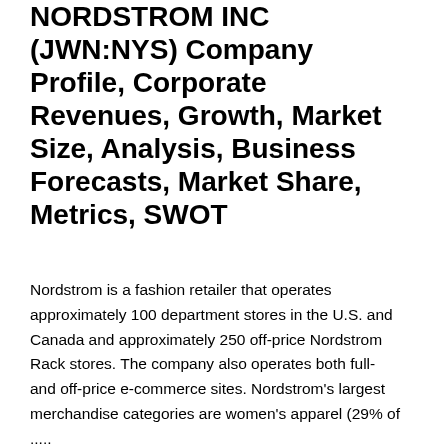NORDSTROM INC (JWN:NYS) Company Profile, Corporate Revenues, Growth, Market Size, Analysis, Business Forecasts, Market Share, Metrics, SWOT
Nordstrom is a fashion retailer that operates approximately 100 department stores in the U.S. and Canada and approximately 250 off-price Nordstrom Rack stores. The company also operates both full- and off-price e-commerce sites. Nordstrom's largest merchandise categories are women's apparel (29% of .....